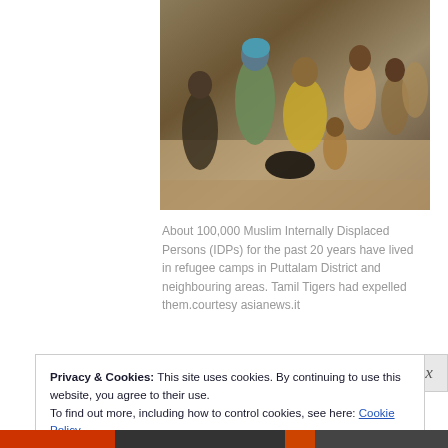[Figure (photo): Crowd of displaced people, including women and children, sitting on the ground. A soldier is visible on the left.]
About 100,000 Muslim Internally Displaced Persons (IDPs) for the past 20 years have lived in refugee camps in Puttalam District and neighbouring areas. Tamil Tigers had expelled them.courtesy asianews.it
Privacy & Cookies: This site uses cookies. By continuing to use this website, you agree to their use.
To find out more, including how to control cookies, see here: Cookie Policy
Close and accept